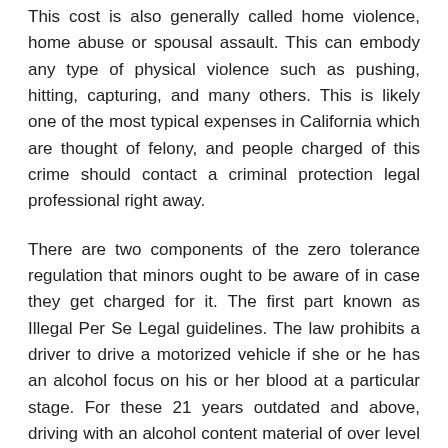This cost is also generally called home violence, home abuse or spousal assault. This can embody any type of physical violence such as pushing, hitting, capturing, and many others. This is likely one of the most typical expenses in California which are thought of felony, and people charged of this crime should contact a criminal protection legal professional right away.
There are two components of the zero tolerance regulation that minors ought to be aware of in case they get charged for it. The first part known as Illegal Per Se Legal guidelines. The law prohibits a driver to drive a motorized vehicle if she or he has an alcohol focus on his or her blood at a particular stage. For these 21 years outdated and above, driving with an alcohol content material of over level zero eight may spell trouble. If you are a minor, those people falling beneath 21 years of age, whilst little as 0.01 or zero.02 alcohol focus level will imply breaking the zero tolerance regulation.